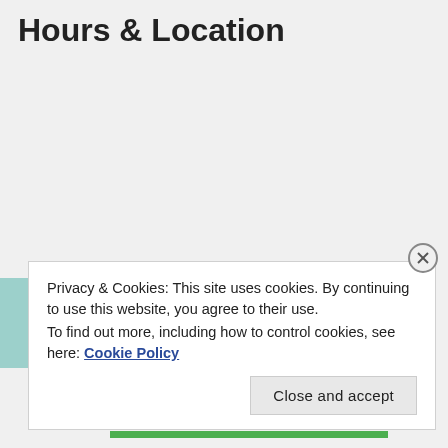Hours & Location
Privacy & Cookies: This site uses cookies. By continuing to use this website, you agree to their use.
To find out more, including how to control cookies, see here: Cookie Policy
Close and accept